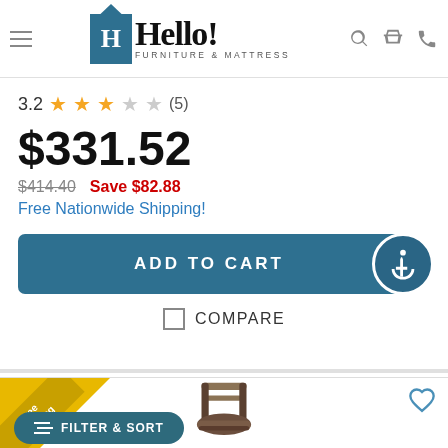Hello! Furniture & Mattress - website header with hamburger menu, logo, search, cart, and phone icons
3.2 (5)
$331.52
$414.40  Save $82.88
Free Nationwide Shipping!
ADD TO CART
COMPARE
[Figure (screenshot): Product listing card showing a bar stool chair with a wooden back and upholstered seat, with a Free Shipping ribbon badge and a heart/wishlist icon]
FILTER & SORT